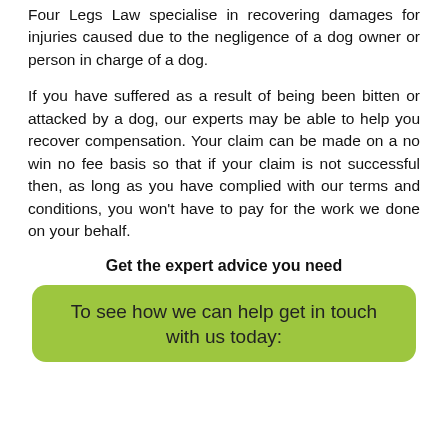Four Legs Law specialise in recovering damages for injuries caused due to the negligence of a dog owner or person in charge of a dog.
If you have suffered as a result of being been bitten or attacked by a dog, our experts may be able to help you recover compensation. Your claim can be made on a no win no fee basis so that if your claim is not successful then, as long as you have complied with our terms and conditions, you won't have to pay for the work we done on your behalf.
Get the expert advice you need
To see how we can help get in touch with us today: